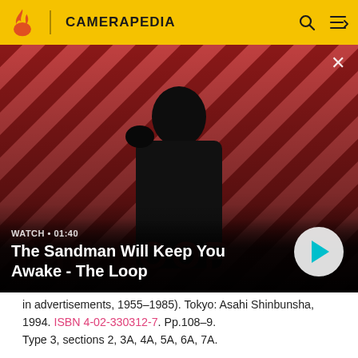CAMERAPEDIA
[Figure (screenshot): Video thumbnail showing a man in black with a raven on his shoulder against a red diagonal striped background. Overlaid text: WATCH • 01:40, The Sandman Will Keep You Awake - The Loop. Play button visible.]
in advertisements, 1955–1985). Tokyo: Asahi Shinbunsha, 1994. ISBN 4-02-330312-7. Pp.108–9. Type 3, sections 2, 3A, 4A, 5A, 6A, 7A.
Recent sources
Asahi Camera (朝日カメラ) editorial staff. Shōwa 10–40nen